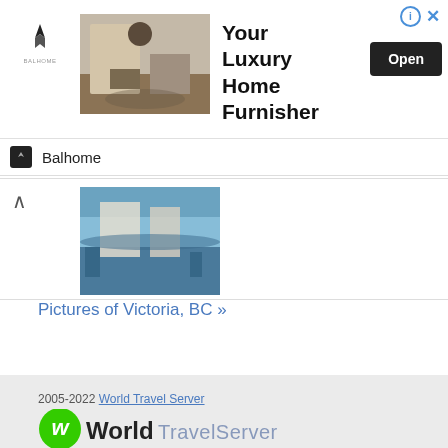[Figure (infographic): Advertisement banner for Balhome luxury furniture. Shows logo, room photo, headline 'Your Luxury Home Furnisher', Open button, info and close icons.]
[Figure (photo): Thumbnail photo of Victoria, BC showing waterfront/building scene.]
Pictures of Victoria, BC »
2005-2022 World Travel Server
[Figure (logo): WorldTravelServer.com logo with green W icon]
Develop @ December 2013
Help
Terms and Conditions
Partners
Cookie policy (English)
Language: English ▼